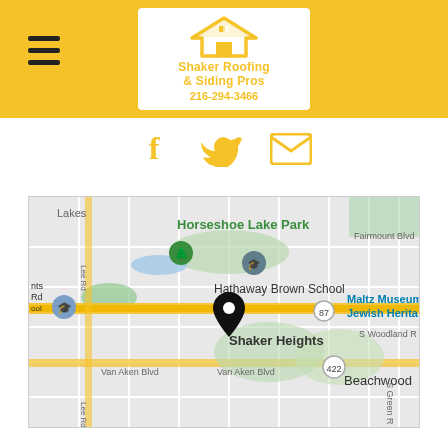[Figure (logo): Shaker Roofing & Siding Pros logo with phone number 216-294-3466 in a white box on a yellow header bar, with hamburger menu icon on the left]
[Figure (infographic): Social media icons: Facebook, Twitter, Email in yellow color]
[Figure (map): Google Maps screenshot showing Shaker Heights area with location pin, including Horseshoe Lake Park, Hathaway Brown School, Maltz Museum Jewish Heritage, Van Aken Blvd, Beachwood, and route 87 and 422]